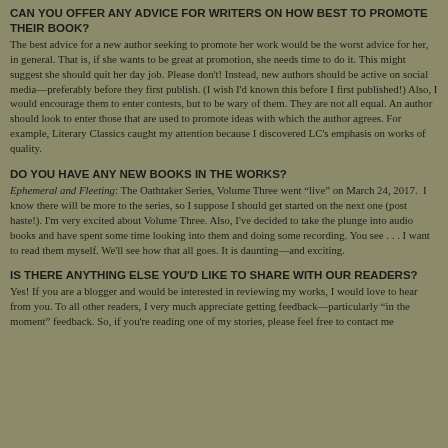CAN YOU OFFER ANY ADVICE FOR WRITERS ON HOW BEST TO PROMOTE THEIR BOOK?
The best advice for a new author seeking to promote her work would be the worst advice for her, in general. That is, if she wants to be great at promotion, she needs time to do it. This might suggest she should quit her day job. Please don't! Instead, new authors should be active on social media—preferably before they first publish. (I wish I'd known this before I first published!) Also, I would encourage them to enter contests, but to be wary of them. They are not all equal. An author should look to enter those that are used to promote ideas with which the author agrees. For example, Literary Classics caught my attention because I discovered LC's emphasis on works of quality.
DO YOU HAVE ANY NEW BOOKS IN THE WORKS?
Ephemeral and Fleeting: The Oathtaker Series, Volume Three went “live” on March 24, 2017.  I know there will be more to the series, so I suppose I should get started on the next one (post haste!). I'm very excited about Volume Three. Also, I've decided to take the plunge into audio books and have spent some time looking into them and doing some recording. You see . . . I want to read them myself. We'll see how that all goes. It is daunting—and exciting.
IS THERE ANYTHING ELSE YOU'D LIKE TO SHARE WITH OUR READERS?
Yes! If you are a blogger and would be interested in reviewing my works, I would love to hear from you. To all other readers, I very much appreciate getting feedback—particularly “in the moment” feedback. So, if you're reading one of my stories, please feel free to contact me